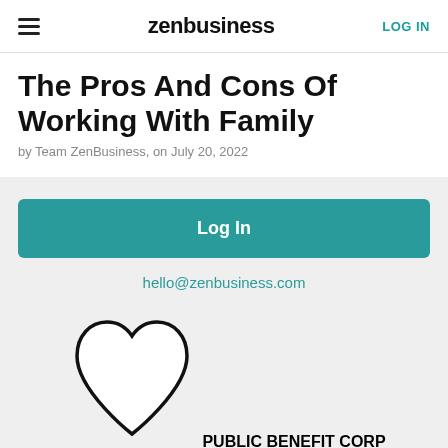zenbusiness | LOG IN
The Pros And Cons Of Working With Family
by Team ZenBusiness, on July 20, 2022
Log In
hello@zenbusiness.com
[Figure (logo): Public Benefit Corp heart-shaped logo with text PUBLIC BENEFIT CORP inside]